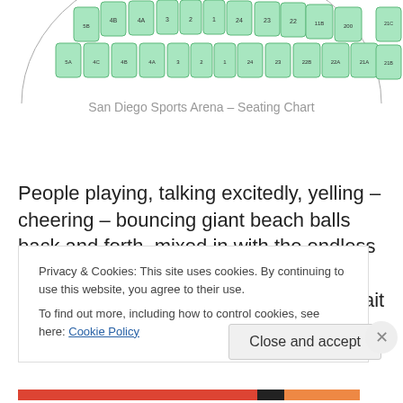[Figure (other): San Diego Sports Arena seating chart — partial top view showing sections 4B, 4A, 3, 2, 1, 24, 23, 22, 11B, 200, 5B, 21A, 5A, 4C, 4B, 4A, 3, 2, 1, 24, 23, 22B, 22A, 21C, 21B in green rounded rectangles arranged in an oval/ellipse]
San Diego Sports Arena – Seating Chart
People playing, talking excitedly, yelling – cheering – bouncing giant beach balls back and forth, mixed in with the endless frisbees…and all the other fun stuff that people do to pass the time while they wait for their
Privacy & Cookies: This site uses cookies. By continuing to use this website, you agree to their use.
To find out more, including how to control cookies, see here: Cookie Policy